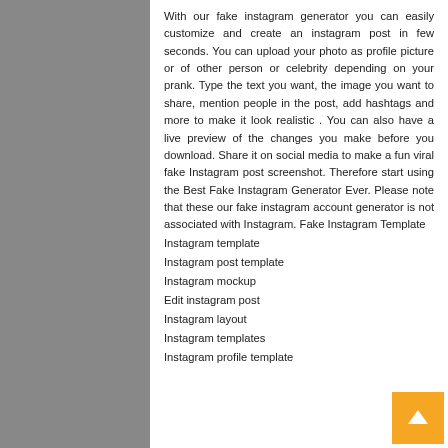With our fake instagram generator you can easily customize and create an instagram post in few seconds. You can upload your photo as profile picture or of other person or celebrity depending on your prank. Type the text you want, the image you want to share, mention people in the post, add hashtags and more to make it look realistic . You can also have a live preview of the changes you make before you download. Share it on social media to make a fun viral fake Instagram post screenshot. Therefore start using the Best Fake Instagram Generator Ever. Please note that these our fake instagram account generator is not associated with Instagram. Fake Instagram Template
Instagram template
Instagram post template
Instagram mockup
Edit instagram post
Instagram layout
Instagram templates
Instagram profile template